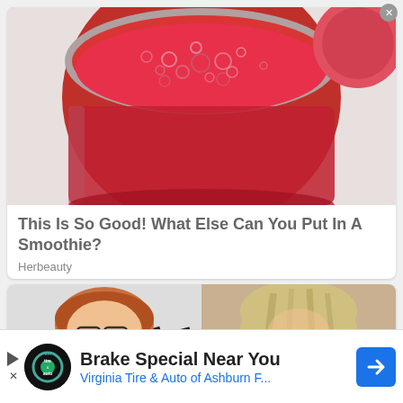[Figure (photo): Close-up photo of a bright red/pink berry smoothie in a glass jar, viewed from slightly above, with bubbles on the surface. Some fruits visible in the background.]
This Is So Good! What Else Can You Put In A Smoothie?
Herbeauty
[Figure (photo): Two side-by-side photos: left shows a woman with glasses lying down on a zebra-print pillow, right shows a blonde woman with head down appearing upset.]
Brake Special Near You
Virginia Tire & Auto of Ashburn F...